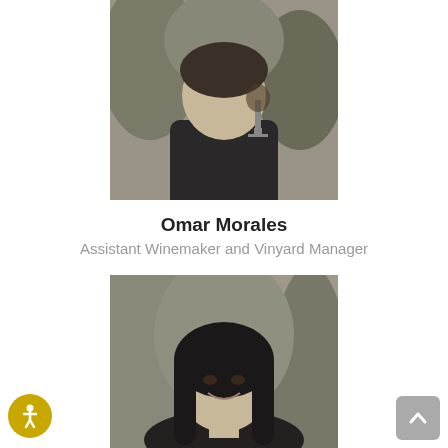[Figure (photo): Black and white photo of Omar Morales partially cropped at top, holding a wine glass]
Omar Morales
Assistant Winemaker and Vinyard Manager
[Figure (photo): Black and white photo of Carolyn Walker smiling, holding a wine glass, wearing a dark jacket]
Carolyn Walker
Tasting Room Associate
[Figure (photo): Black and white photo of a third person, partially visible at bottom of page, showing head and shoulders of older person with white hair]
[Figure (other): Accessibility icon - yellow circle with white person figure]